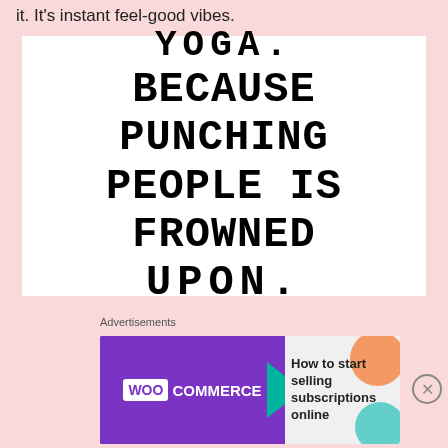it. It's instant feel-good vibes.
[Figure (illustration): White rectangular box containing humorous yoga quote in large bold uppercase letters: 'YOGA. BECAUSE PUNCHING PEOPLE IS FROWNED UPON.']
Yoga
I go to an amazing yoga class twice a week in the mornings, but I like to do yoga at night, too. I'll take my iPad into the living room and put on a 20-minute YouTube video
[Figure (other): Advertisement banner for WooCommerce: 'How to start selling subscriptions online']